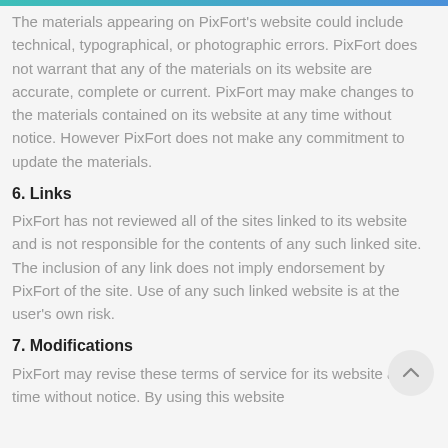The materials appearing on PixFort's website could include technical, typographical, or photographic errors. PixFort does not warrant that any of the materials on its website are accurate, complete or current. PixFort may make changes to the materials contained on its website at any time without notice. However PixFort does not make any commitment to update the materials.
6. Links
PixFort has not reviewed all of the sites linked to its website and is not responsible for the contents of any such linked site. The inclusion of any link does not imply endorsement by PixFort of the site. Use of any such linked website is at the user's own risk.
7. Modifications
PixFort may revise these terms of service for its website at any time without notice. By using this website...